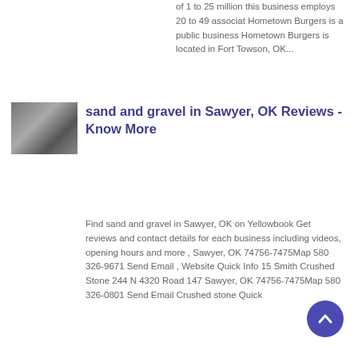of 1 to 25 million this business employs 20 to 49 associat Hometown Burgers is a public business Hometown Burgers is located in Fort Towson, OK...
[Figure (photo): Thumbnail image related to sand and gravel, showing industrial/construction scene]
sand and gravel in Sawyer, OK Reviews - Know More
Find sand and gravel in Sawyer, OK on Yellowbook Get reviews and contact details for each business including videos, opening hours and more , Sawyer, OK 74756-7475Map 580 326-9671 Send Email , Website Quick Info 15 Smith Crushed Stone 244 N 4320 Road 147 Sawyer, OK 74756-7475Map 580 326-0801 Send Email Crushed stone Quick